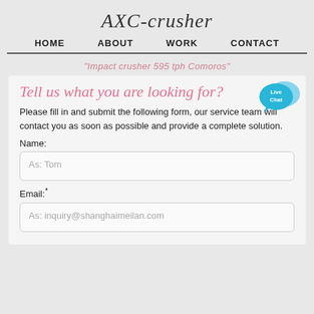AXC-crusher
HOME   ABOUT   WORK   CONTACT
"Impact crusher 595 tph Comoros"
Tell us what you are looking for?
[Figure (illustration): Live Chat speech bubble icon in blue]
Please fill in and submit the following form, our service team will contact you as soon as possible and provide a complete solution.
Name:
As: Tom
Email:*
As: inquiry@shanghaimeilan.com